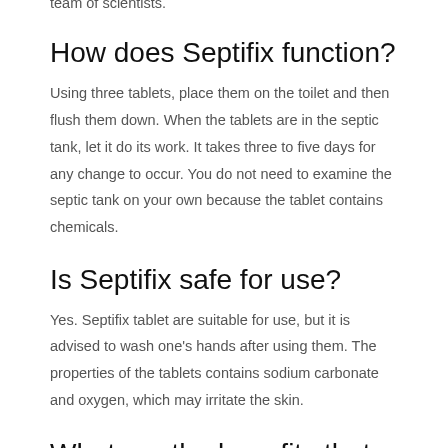team of scientists.
How does Septifix function?
Using three tablets, place them on the toilet and then flush them down. When the tablets are in the septic tank, let it do its work. It takes three to five days for any change to occur. You do not need to examine the septic tank on your own because the tablet contains chemicals.
Is Septifix safe for use?
Yes. Septifix tablet are suitable for use, but it is advised to wash one's hands after using them. The properties of the tablets contains sodium carbonate and oxygen, which may irritate the skin.
What are the benefits that come with Septifix tablets?